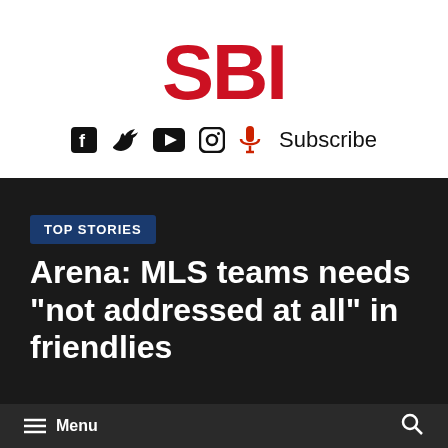SBI
[Figure (logo): Social media icons: Facebook, Twitter, YouTube, Instagram, microphone/podcast icon, and Subscribe text]
TOP STORIES
Arena: MLS teams needs “not addressed at all” in friendlies
Menu